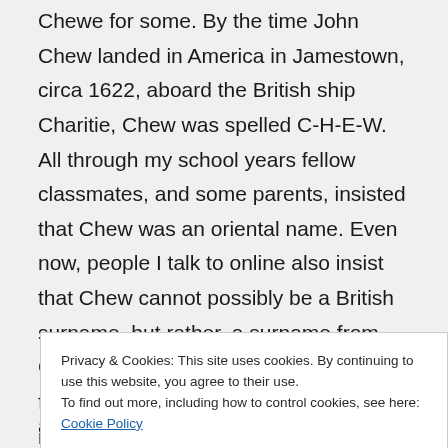Chewe for some. By the time John Chew landed in America in Jamestown, circa 1622, aboard the British ship Charitie, Chew was spelled C-H-E-W. All through my school years fellow classmates, and some parents, insisted that Chew was an oriental name. Even now, people I talk to online also insist that Chew cannot possibly be a British surname, but rather, a surname from China. Well, not mine. As a matter of fact, there is a place called Chew Valley in
Privacy & Cookies: This site uses cookies. By continuing to use this website, you agree to their use.
To find out more, including how to control cookies, see here: Cookie Policy
ancestral